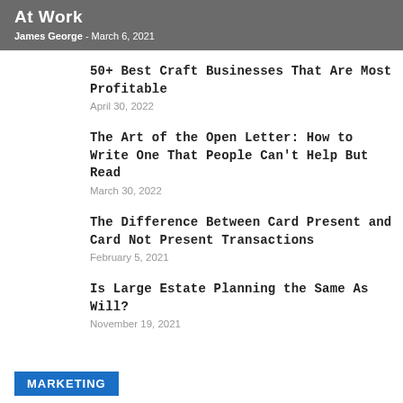At Work
James George - March 6, 2021
50+ Best Craft Businesses That Are Most Profitable
April 30, 2022
The Art of the Open Letter: How to Write One That People Can't Help But Read
March 30, 2022
The Difference Between Card Present and Card Not Present Transactions
February 5, 2021
Is Large Estate Planning the Same As Will?
November 19, 2021
MARKETING